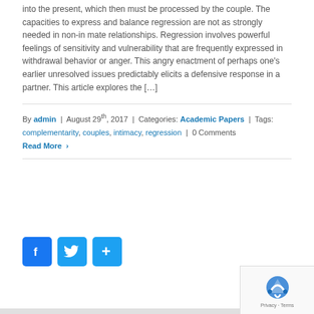into the present, which then must be processed by the couple. The capacities to express and balance regression are not as strongly needed in non-in mate relationships. Regression involves powerful feelings of sensitivity and vulnerability that are frequently expressed in withdrawal behavior or anger. This angry enactment of perhaps one's earlier unresolved issues predictably elicits a defensive response in a partner. This article explores the […]
By admin | August 29th, 2017 | Categories: Academic Papers | Tags: complementarity, couples, intimacy, regression | 0 Comments
Read More ›
[Figure (other): Social sharing buttons: Facebook (blue), Twitter (light blue), and a share/add button (light blue with plus icon)]
[Figure (other): Google reCAPTCHA widget in bottom right corner showing the reCAPTCHA logo and Privacy · Terms text]